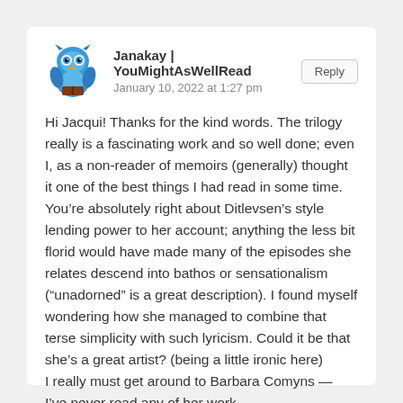[Figure (illustration): Blue cartoon owl avatar with large eyes and brown book]
Janakay | YouMightAsWellRead
January 10, 2022 at 1:27 pm
Reply
Hi Jacqui! Thanks for the kind words. The trilogy really is a fascinating work and so well done; even I, as a non-reader of memoirs (generally) thought it one of the best things I had read in some time. You’re absolutely right about Ditlevsen’s style lending power to her account; anything the less bit florid would have made many of the episodes she relates descend into bathos or sensationalism (“unadorned” is a great description). I found myself wondering how she managed to combine that terse simplicity with such lyricism. Could it be that she’s a great artist? (being a little ironic here)
I really must get around to Barbara Comyns — I’ve never read any of her work.